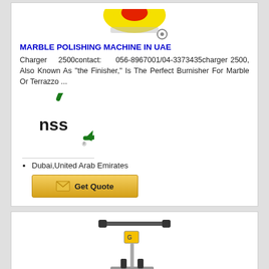[Figure (photo): Top portion of marble polishing machine product image (partially visible at top)]
MARBLE POLISHING MACHINE IN UAE
Charger 2500contact: 056-8967001/04-3373435charger 2500, Also Known As "the Finisher," Is The Perfect Burnisher For Marble Or Terrazzo ...
[Figure (logo): NSS brand logo - circular arrow design with 'nss' text]
Dubai,United Arab Emirates
[Figure (other): Get Quote button with envelope icon]
[Figure (photo): Second product - marble polishing machine with handle, partially visible at bottom of page]